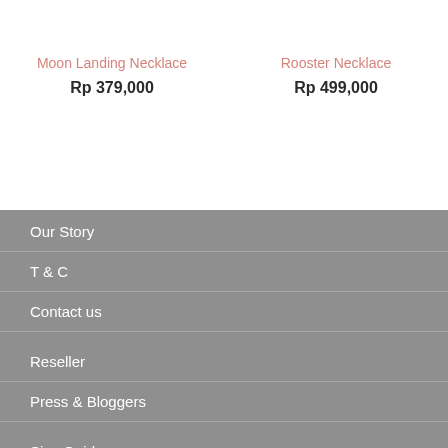Moon Landing Necklace
Rp 379,000
Rooster Necklace
Rp 499,000
Our Story
T & C
Contact us
Reseller
Press & Bloggers
Size Guide